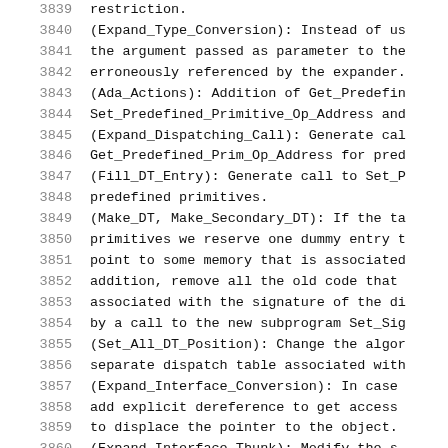3839    restriction.
3840    (Expand_Type_Conversion): Instead of us
3841    the argument passed as parameter to the
3842    erroneously referenced by the expander.
3843    (Ada_Actions): Addition of Get_Predefin
3844    Set_Predefined_Primitive_Op_Address and
3845    (Expand_Dispatching_Call): Generate cal
3846    Get_Predefined_Prim_Op_Address for pred
3847    (Fill_DT_Entry): Generate call to Set_P
3848    predefined primitives.
3849    (Make_DT, Make_Secondary_DT): If the ta
3850    primitives we reserve one dummy entry t
3851    point to some memory that is associated
3852    addition, remove all the old code that
3853    associated with the signature of the di
3854    by a call to the new subprogram Set_Sig
3855    (Set_All_DT_Position): Change the algor
3856    separate dispatch table associated with
3857    (Expand_Interface_Conversion): In case
3858    add explicit dereference to get access
3859    to displace the pointer to the object.
3860    (Expand_Interface_Thunk): Modify the s